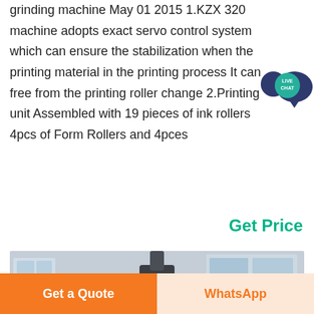grinding machine May 01 2015 1.KZX 320 machine adopts exact servo control system which can ensure the stabilization when the printing material in the printing process It can free from the printing roller change 2.Printing unit Assembled with 19 pieces of ink rollers 4pcs of Form Rollers and 4pces
[Figure (other): Live Chat speech bubble badge with teal/navy color and text LIVE CHAT]
Get Price
[Figure (photo): Industrial machine (likely a large cylindrical/disc-shaped machine) photographed inside a factory or warehouse with windows in background]
Get a Quote | WhatsApp